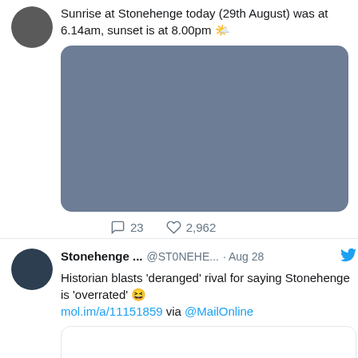Sunrise at Stonehenge today (29th August) was at 6.14am, sunset is at 8.00pm ☀️
[Figure (photo): Blue-grey placeholder rectangle representing a photo of Stonehenge at sunrise]
23 comments, 2,962 likes
Stonehenge ... @ST0NEHE... · Aug 28
Historian blasts 'deranged' rival for saying Stonehenge is 'overrated' 😆 mol.im/a/11151859 via @MailOnline
[Figure (screenshot): Small white card placeholder for embedded article preview]